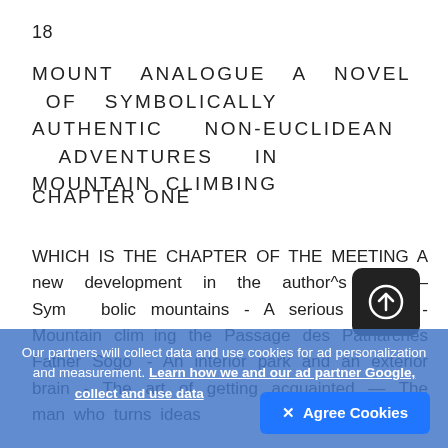18
MOUNT ANALOGUE A NOVEL OF SYMBOLICALLY AUTHENTIC NON-EUCLIDEAN ADVENTURES IN MOUNTAIN CLIMBING
CHAPTER ONE
WHICH IS THE CHAPTER OF THE MEETING A new development in the author^s life — Symbolic mountains - A serious reader - Mountain climbing the Passage des Patriarches Father Sogol - An interior park and an exterior brain - The art of getting acquainted — The man who turns ideas